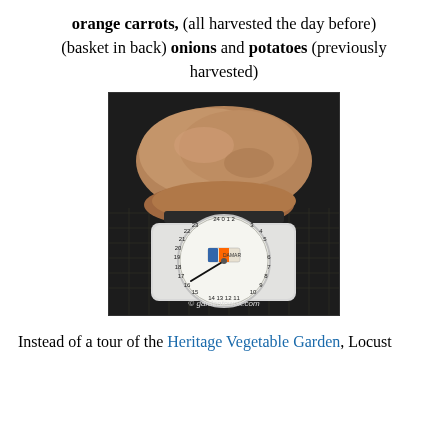orange carrots, (all harvested the day before) (basket in back) onions and potatoes (previously harvested)
[Figure (photo): A large potato sitting on top of a kitchen scale. The scale dial shows numbers around 16-24, with the needle pointing near the 16 oz mark. The image has a watermark reading '© gardentowok.com'.]
Instead of a tour of the Heritage Vegetable Garden, Locust